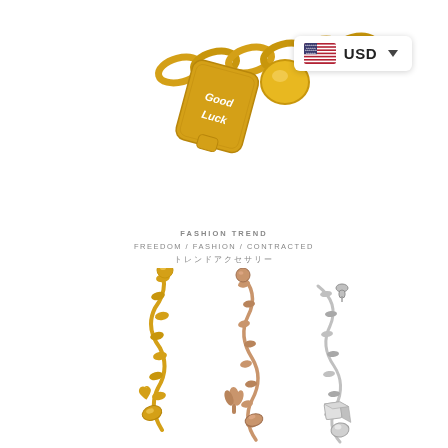[Figure (photo): Close-up of a gold chain bracelet with a rectangular 'Good Luck' charm tag and a round gold bead charm, on a white background]
[Figure (infographic): UI badge showing US flag and USD currency selector with dropdown arrow]
FASHION TREND
FREEDOM / FASHION / CONTRACTED
トレンドアクセサリー
[Figure (photo): Three bracelets laid diagonally: gold chain bracelet with heart and oval charms, rose gold chain bracelet with tulip and oval charms, and silver chain bracelet with cube and round charms, on a white background]